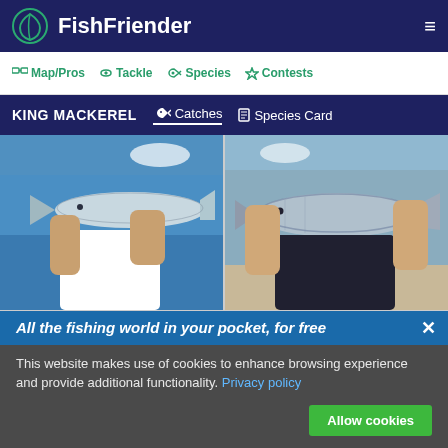FishFriender
Map/Pros   Tackle   Species   Contests
KING MACKEREL   Catches   Species Card
[Figure (photo): Person holding a king mackerel fish horizontally over ocean water]
[Figure (photo): Person holding a large king mackerel fish up to camera on a boat]
[Figure (photo): Shirtless man wearing NY cap smiling on a boat with cloudy sky]
[Figure (photo): Man in white fishing shirt smiling on boat over ocean with clouds]
All the fishing world in your pocket, for free
This website makes use of cookies to enhance browsing experience and provide additional functionality. Privacy policy
Allow cookies